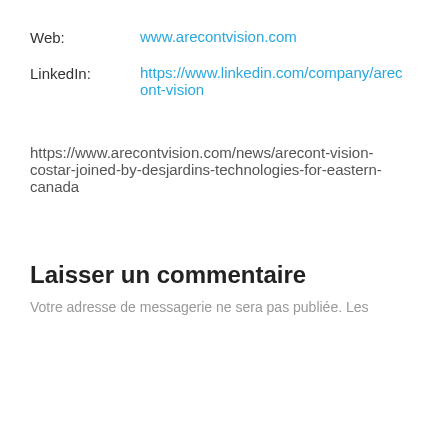Web: www.arecontvision.com
LinkedIn: https://www.linkedin.com/company/arecont-vision
https://www.arecontvision.com/news/arecont-vision-costar-joined-by-desjardins-technologies-for-eastern-canada
Laisser un commentaire
Votre adresse de messagerie ne sera pas publiée. Les